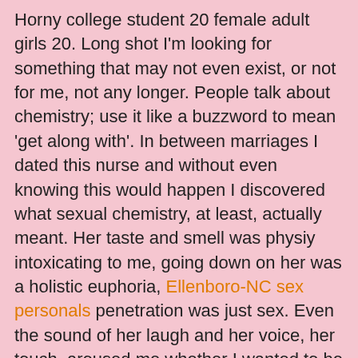Horny college student 20 female adult girls 20. Long shot I'm looking for something that may not even exist, or not for me, not any longer. People talk about chemistry; use it like a buzzword to mean 'get along with'. In between marriages I dated this nurse and without even knowing this would happen I discovered what sexual chemistry, at least, actually meant. Her taste and smell was physiy intoxicating to me, going down on her was a holistic euphoria, Ellenboro-NC sex personals penetration was just sex. Even the sound of her laugh and her voice, her touch, aroused me whether I wanted to be aroused or not. And this was without artifact, without perfume or make up or sexy lingerie. It was that somehow whatever hormones or pheromones she produced I was completely vulnerable too. And, apparently this only worked on me and, oddly enough the same was true of my scent and taste and sound and touch to her. I don't know how to ask for that or even find it. In any conventional sense she was not the love of my life, in a sexual sense she was my perfect match. There's more to